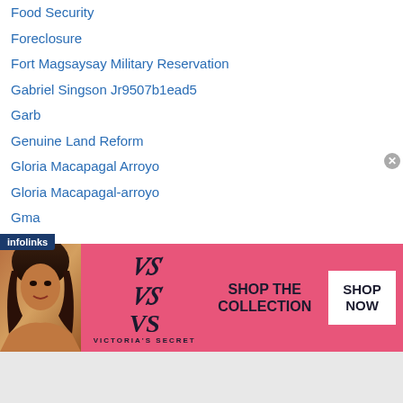Food Security
Foreclosure
Fort Magsaysay Military Reservation
Gabriel Singson Jr9507b1ead5
Garb
Genuine Land Reform
Gloria Macapagal Arroyo
Gloria Macapagal-arroyo
Gma
Gmo
Golden Rice
Guimba
Hacienda Dolores
Hacienda Luisita
Hacienda Luisita Massacre
[Figure (infographic): Victoria's Secret advertisement banner with pink background, model photo, VS logo, 'SHOP THE COLLECTION' text, and 'SHOP NOW' button. Infolinks tab in lower left corner with close button.]